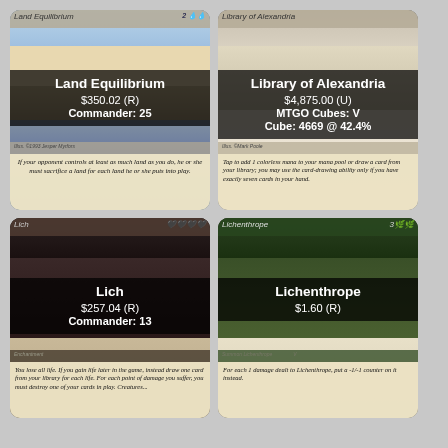[Figure (illustration): Magic: The Gathering card - Land Equilibrium. Price $350.02 (R), Commander: 25. Card shows landscape with land imagery. Text: If your opponent controls at least as much land as you do, he or she must sacrifice a land for each land he or she puts into play.]
[Figure (illustration): Magic: The Gathering card - Library of Alexandria. Price $4,875.00 (U), MTGO Cubes: V, Cube: 4669 @ 42.4%. Text: Tap to add 1 colorless mana to your mana pool or draw a card from your library; you may use the card-drawing ability only if you have exactly seven cards in your hand.]
[Figure (illustration): Magic: The Gathering card - Lich. Price $257.04 (R), Commander: 13. Card shows dark enchantment imagery. Text: You lose all life. If you gain life later in the game, instead draw one card from your library for each life. For each point of damage you suffer, you must destroy one of your cards in play. Creatures...]
[Figure (illustration): Magic: The Gathering card - Lichenthrope. Price $1.60 (R). Summon Lichenthrope, set V. Text: For each 1 damage dealt to Lichenthrope, put a -1/-1 counter on it instead.]